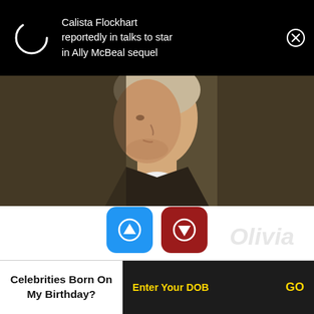[Figure (screenshot): Notification banner showing a spinning loading circle on the left and text 'Calista Flockhart reportedly in talks to star in Ally McBeal sequel' on dark background with X close button]
[Figure (photo): Portrait painting of an 18th century gentleman in profile, wearing a dark coat and white cravat]
[Figure (infographic): Blue upvote button showing count 15 and dark red downvote button showing count 3]
Birthdate: December 2, 1738
Sun Sign: Sagittarius
Birthplace: (partially visible)
[Figure (infographic): Bottom widget: 'Celebrities Born On My Birthday?' with Enter Your DOB input and GO button on dark background]